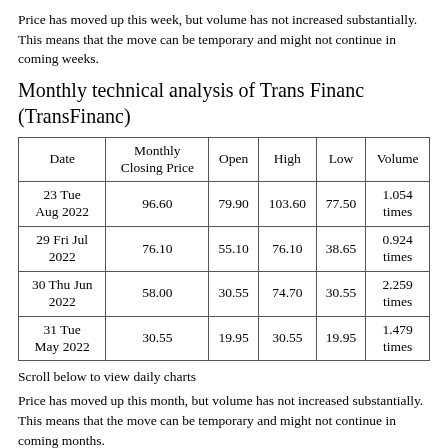Price has moved up this week, but volume has not increased substantially. This means that the move can be temporary and might not continue in coming weeks.
Monthly technical analysis of Trans Financ (TransFinanc)
| Date | Monthly Closing Price | Open | High | Low | Volume |
| --- | --- | --- | --- | --- | --- |
| 23 Tue Aug 2022 | 96.60 | 79.90 | 103.60 | 77.50 | 1.054 times |
| 29 Fri Jul 2022 | 76.10 | 55.10 | 76.10 | 38.65 | 0.924 times |
| 30 Thu Jun 2022 | 58.00 | 30.55 | 74.70 | 30.55 | 2.259 times |
| 31 Tue May 2022 | 30.55 | 19.95 | 30.55 | 19.95 | 1.479 times |
Scroll below to view daily charts
Price has moved up this month, but volume has not increased substantially. This means that the move can be temporary and might not continue in coming months.
Indicators analysis of Trans Financ (TransFinanc)